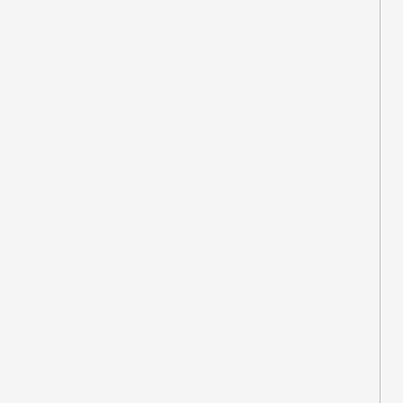its own brand network, interests or even co A must less wide, across view how is that so GR are